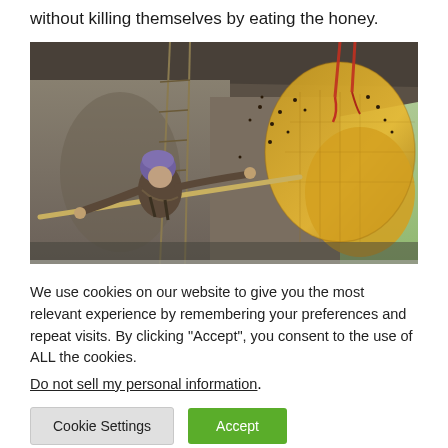without killing themselves by eating the honey.
[Figure (photo): Person harvesting honey from a large wild beehive on a cliff face, using a long bamboo pole, wearing a purple head covering. Large honeycomb visible on the right side of the cliff.]
We use cookies on our website to give you the most relevant experience by remembering your preferences and repeat visits. By clicking “Accept”, you consent to the use of ALL the cookies.
Do not sell my personal information.
Cookie Settings
Accept